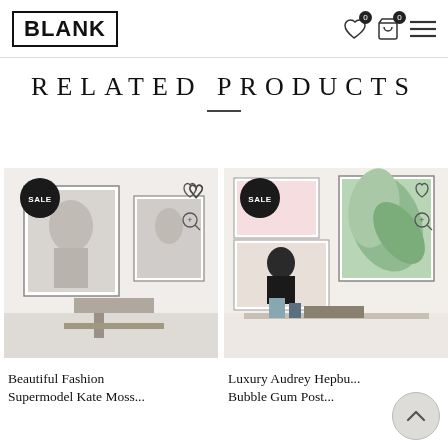BLANK — navigation header with logo, wishlist icon (0), cart icon (0), and hamburger menu
RELATED PRODUCTS
[Figure (photo): Product card 1: interior room photo with two framed fashion/model prints on wall. SALE badge in black circle. Wishlist heart icon and zoom icon overlaid. Shows 'Beautiful Fashion Supermodel Kate Moss' product title.]
Beautiful Fashion Supermodel Kate Moss
[Figure (photo): Product card 2: interior room photo with framed prints including Audrey Hepburn portrait and tropical palm leaf print. SALE badge in black circle. Wishlist heart icon and zoom icon overlaid. Shows 'Luxury Audrey Hepburn Bubble Gum Poster' product title.]
Luxury Audrey Hepbu... Bubble Gum Post...